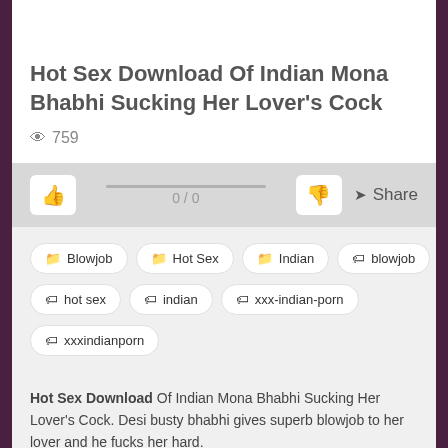Hot Sex Download Of Indian Mona Bhabhi Sucking Her Lover's Cock
👁 759
0 / 0
📁 Blowjob
📁 Hot Sex
📁 Indian
🏷 blowjob
🏷 hot sex
🏷 indian
🏷 xxx-indian-porn
🏷 xxxindianporn
Hot Sex Download Of Indian Mona Bhabhi Sucking Her Lover's Cock. Desi busty bhabhi gives superb blowjob to her lover and he fucks her hard.